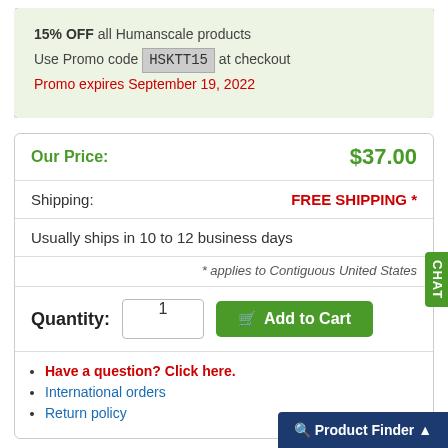15% OFF all Humanscale products
Use Promo code HSKTT15 at checkout
Promo expires September 19, 2022
Our Price: $37.00
Shipping: FREE SHIPPING *
Usually ships in 10 to 12 business days
* applies to Contiguous United States
Quantity: 1  Add to Cart
Have a question? Click here.
International orders
Return policy